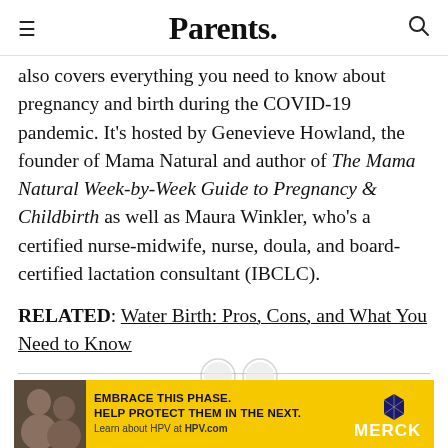Parents.
also covers everything you need to know about pregnancy and birth during the COVID-19 pandemic. It's hosted by Genevieve Howland, the founder of Mama Natural and author of The Mama Natural Week-by-Week Guide to Pregnancy & Childbirth as well as Maura Winkler, who's a certified nurse-midwife, nurse, doula, and board-certified lactation consultant (IBCLC).
RELATED: Water Birth: Pros, Cons, and What You Need to Know
[Figure (photo): Merck advertisement banner: yellow background with photo of two women, text reading EMBRACE THIS PHASE. HELP PROTECT THEM IN THE NEXT. Learn about HPV at HPV.com, and Merck logo with hexagon icon.]